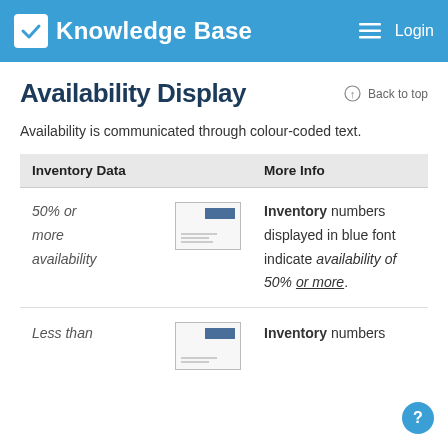Knowledge Base   Login
Availability Display
Back to top
Availability is communicated through colour-coded text.
| Inventory Data |  | More Info |
| --- | --- | --- |
| 50% or more availability | [thumbnail image] | Inventory numbers displayed in blue font indicate availability of 50% or more. |
| Less than | [thumbnail image] | Inventory numbers |